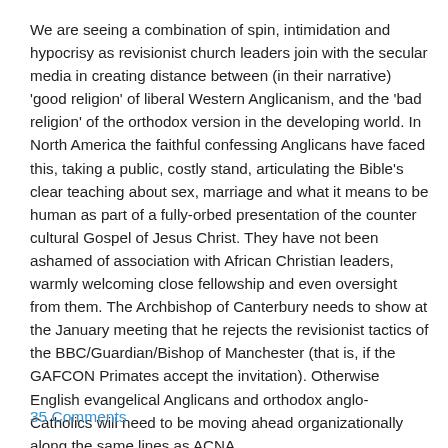We are seeing a combination of spin, intimidation and hypocrisy as revisionist church leaders join with the secular media in creating distance between (in their narrative) 'good religion' of liberal Western Anglicanism, and the 'bad religion' of the orthodox version in the developing world. In North America the faithful confessing Anglicans have faced this, taking a public, costly stand, articulating the Bible's clear teaching about sex, marriage and what it means to be human as part of a fully-orbed presentation of the counter cultural Gospel of Jesus Christ. They have not been ashamed of association with African Christian leaders, warmly welcoming close fellowship and even oversight from them. The Archbishop of Canterbury needs to show at the January meeting that he rejects the revisionist tactics of the BBC/Guardian/Bishop of Manchester (that is, if the GAFCON Primates accept the invitation). Otherwise English evangelical Anglicans and orthodox anglo-Catholics will need to be moving ahead organizationally along the same lines as ACNA.
35 Comments